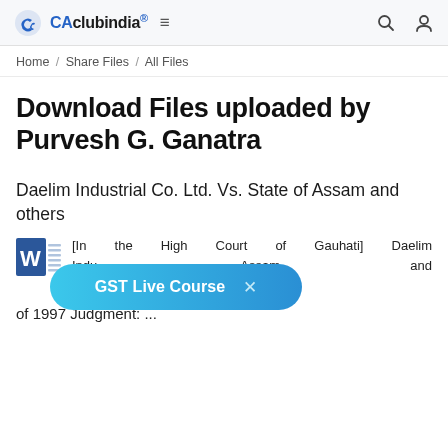CAclubindia® ≡ [search] [user]
Home / Share Files / All Files
Download Files uploaded by Purvesh G. Ganatra
Daelim Industrial Co. Ltd. Vs. State of Assam and others
[In the High Court of Gauhati] Daelim Industrial Co. Ltd. Vs. State of Assam and others ... Rule No. 2252 of 1997 Judgment: ...
[Figure (other): GST Live Course promotional pill-shaped banner overlay in blue gradient with close X button]